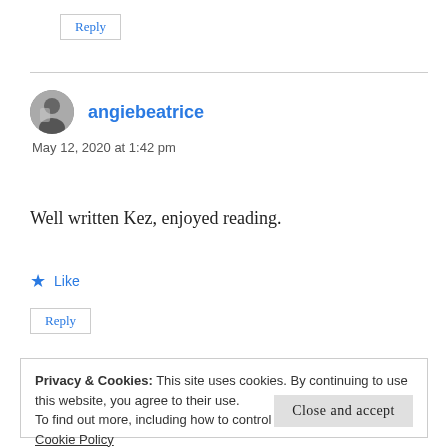Reply
angiebeatrice
May 12, 2020 at 1:42 pm
Well written Kez, enjoyed reading.
Like
Reply
Privacy & Cookies: This site uses cookies. By continuing to use this website, you agree to their use.
To find out more, including how to control cookies, see here: Cookie Policy
Close and accept